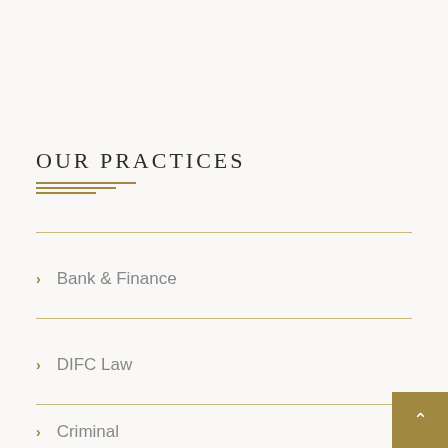OUR PRACTICES
Bank & Finance
DIFC Law
Criminal